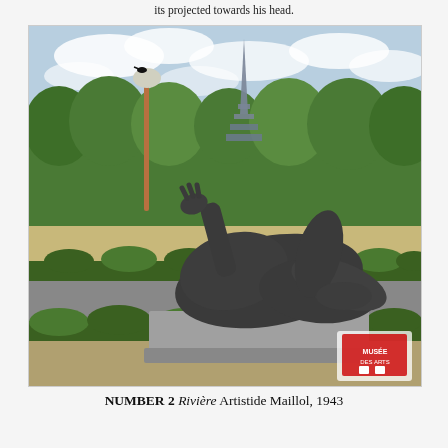its projected towards his head.
[Figure (photo): Photograph of a large bronze sculpture of a reclining nude female figure (Rivière by Aristide Maillol, 1943) on a stone plinth in a Paris park (Tuileries Garden), with the Eiffel Tower visible in the background among green trees and a classic Parisian lamp post. A small watermark/logo is visible in the bottom right corner of the photo.]
NUMBER 2 Rivière Artistide Maillol, 1943